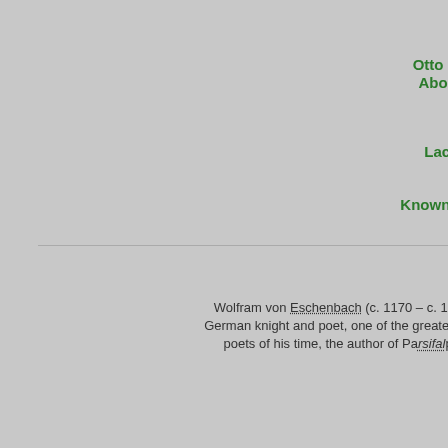Today's:
A Corte de Lucifer, French
Otto Rahn: The Real Indiana Jones
About the autotagging site engine
All time:
Otto Rahn Biography
Lachrymae, Chapter IV: The Final Chapter
Otto Rahn's books
Known photos of Otto Wilhelm Rahn
Raiders of the Lost Grail
Random Lexicon
Wolfram von Eschenbach
Wolfram von Eschenbach (c. 1170 – c. 1220), German knight and poet, one of the greatest epic poets of his time, the author of Parsifal pp> See also: Parsival
Otto Rahn por el Sec
[Figure (illustration): Black and white comic-style illustration of a noir detective figure in a hat with a glowing grail/chalice in the foreground]
individuos eran ma